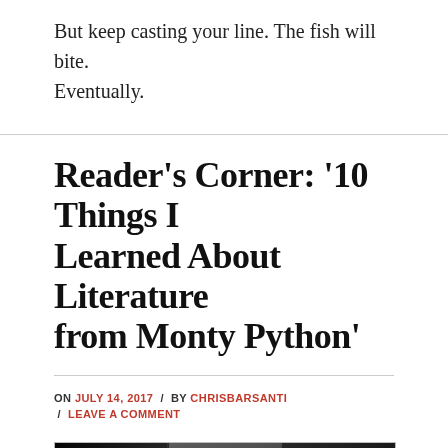But keep casting your line. The fish will bite. Eventually.
Reader's Corner: '10 Things I Learned About Literature from Monty Python'
ON JULY 14, 2017 / BY CHRISBARSANTI / LEAVE A COMMENT
[Figure (photo): Black and white photo split into three panels showing figures, one central figure with a raised hand/gesture in the middle panel]